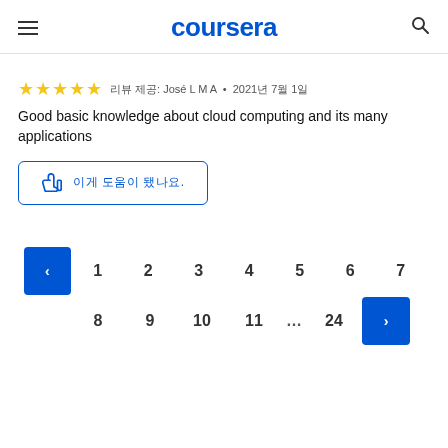coursera
리뷰 제공: José L M A • 2021년 7월 1일
Good basic knowledge about cloud computing and its many applications
이게 도움이 됐나요?
1 2 3 4 5 6 7 8 9 10 11 ... 24